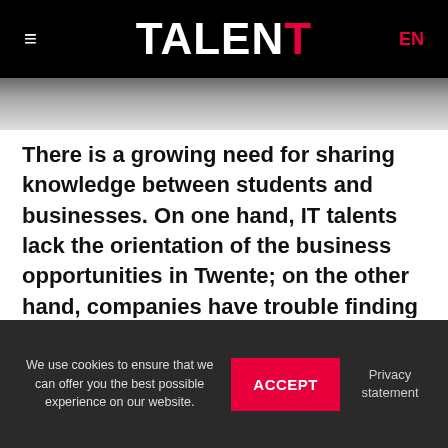TALENT EN
There is a growing need for sharing knowledge between students and businesses. On one hand, IT talents lack the orientation of the business opportunities in Twente; on the other hand, companies have trouble finding the right staff. It is our aim to make this a win-win situation. That is why our board always consists of leading professionals from the business community. They
We use cookies to ensure that we can offer you the best possible experience on our website. ACCEPT Privacy statement